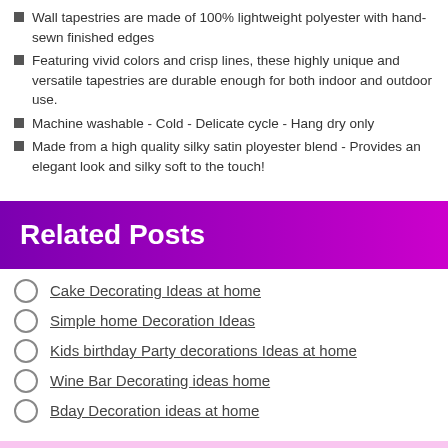Wall tapestries are made of 100% lightweight polyester with hand-sewn finished edges
Featuring vivid colors and crisp lines, these highly unique and versatile tapestries are durable enough for both indoor and outdoor use.
Machine washable - Cold - Delicate cycle - Hang dry only
Made from a high quality silky satin ployester blend - Provides an elegant look and silky soft to the touch!
Related Posts
Cake Decorating Ideas at home
Simple home Decoration Ideas
Kids birthday Party decorations Ideas at home
Wine Bar Decorating ideas home
Bday Decoration ideas at home
Categories
VINTAGE HOME DECOR